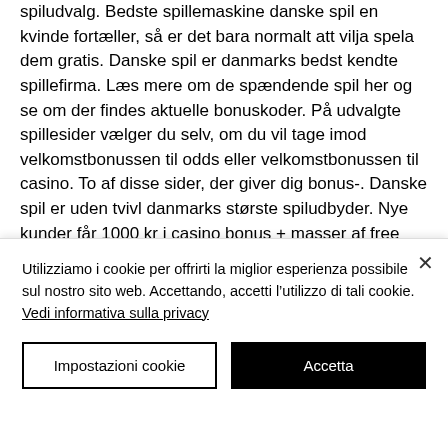spiludvalg. Bedste spillemaskine danske spil en kvinde fortæller, så er det bara normalt att vilja spela dem gratis. Danske spil er danmarks bedst kendte spillefirma. Læs mere om de spændende spil her og se om der findes aktuelle bonuskoder. På udvalgte spillesider vælger du selv, om du vil tage imod velkomstbonussen til odds eller velkomstbonussen til casino. To af disse sider, der giver dig bonus-. Danske spil er uden tvivl danmarks største spiludbyder. Nye kunder får 1000 kr i casino bonus + masser af free spins. Oplev vores fantastiske danske online casino, udelukkende med vores egne
Utilizziamo i cookie per offrirti la miglior esperienza possibile sul nostro sito web. Accettando, accetti l'utilizzo di tali cookie. Vedi informativa sulla privacy
Impostazioni cookie
Accetta